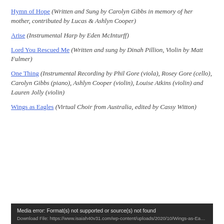Hymn of Hope (Written and Sung by Carolyn Gibbs in memory of her mother, contributed by Lucas & Ashlyn Cooper)
Arise (Instrumental Harp by Eden McInturff)
Lord You Rescued Me (Written and sung by Dinah Pillion, Violin by Matt Fulmer)
One Thing (Instrumental Recording by Phil Gore (viola), Rosey Gore (cello), Carolyn Gibbs (piano), Ashlyn Cooper (violin), Louise Atkins (violin) and Lauren Jolly (violin)
Wings as Eagles (Virtual Choir from Australia, edited by Cassy Witton)
Media error: Format(s) not supported or source(s) not found
Download File: https://www.isaiah40v31.com/wp-content/uploads/2020/10/Wings-as-Eagles-